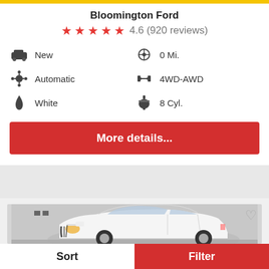Bloomington Ford
4.6 (920 reviews)
New | 0 Mi. | Automatic | 4WD-AWD | White | 8 Cyl.
More details...
[Figure (photo): White Ford EcoSport SUV photographed in a dealership showroom or garage setting, front three-quarter view.]
Sort | Filter